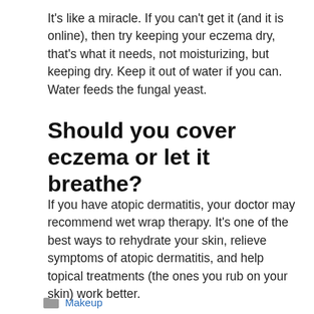It's like a miracle. If you can't get it (and it is online), then try keeping your eczema dry, that's what it needs, not moisturizing, but keeping dry. Keep it out of water if you can. Water feeds the fungal yeast.
Should you cover eczema or let it breathe?
If you have atopic dermatitis, your doctor may recommend wet wrap therapy. It's one of the best ways to rehydrate your skin, relieve symptoms of atopic dermatitis, and help topical treatments (the ones you rub on your skin) work better.
Makeup